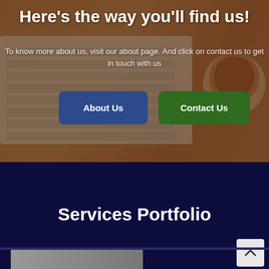[Figure (photo): Background photo of a laptop keyboard, notebook, and a coffee cup on a wooden desk, with warm brown/orange tones and a dark overlay]
Here’s the way you’ll find us!
To know more about us, visit our about page. And click on contact us to get in touch with us
About Us
Contact Us
Services Portfolio
[Figure (photo): Partial view of a photo at the bottom of the page under a dark navy background section]